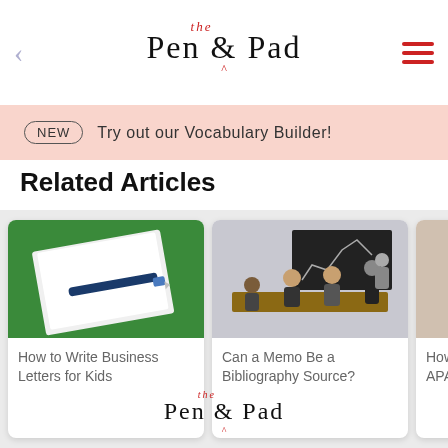Pen & the Pad
NEW  Try out our Vocabulary Builder!
Related Articles
[Figure (photo): Notebook with pen on green background]
How to Write Business Letters for Kids
[Figure (photo): People in a business meeting around a conference table with a presentation on a blackboard]
Can a Memo Be a Bibliography Source?
[Figure (photo): Close-up of hands holding a white cylindrical object]
How to Cite Memorandum APA
Pen & the Pad